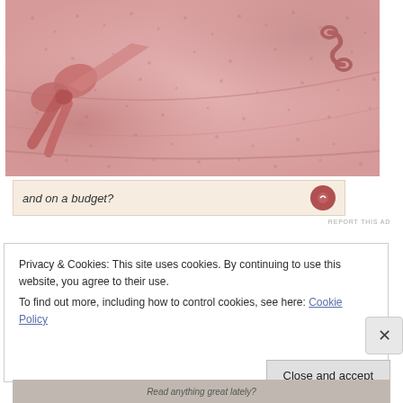[Figure (photo): Close-up photo of a pink textured fabric item (likely a handbag or garment) with a pink bow/ribbon on the left and a decorative toggle/clasp on the upper right. The texture is a bubbly, nubby pink fabric.]
and on a budget?
REPORT THIS AD
Privacy & Cookies: This site uses cookies. By continuing to use this website, you agree to their use.
To find out more, including how to control cookies, see here: Cookie Policy
Close and accept
Read anything great lately?